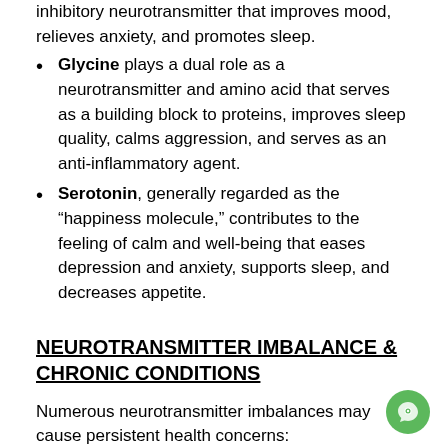inhibitory neurotransmitter that improves mood, relieves anxiety, and promotes sleep.
Glycine plays a dual role as a neurotransmitter and amino acid that serves as a building block to proteins, improves sleep quality, calms aggression, and serves as an anti-inflammatory agent.
Serotonin, generally regarded as the “happiness molecule,” contributes to the feeling of calm and well-being that eases depression and anxiety, supports sleep, and decreases appetite.
NEUROTRANSMITTER IMBALANCE & CHRONIC CONDITIONS
Numerous neurotransmitter imbalances may cause persistent health concerns:
Anxiety & Depression: Imbalances are often associated